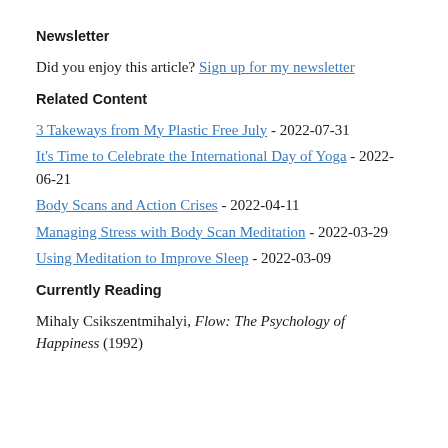Newsletter
Did you enjoy this article? Sign up for my newsletter
Related Content
3 Takeways from My Plastic Free July - 2022-07-31
It's Time to Celebrate the International Day of Yoga - 2022-06-21
Body Scans and Action Crises - 2022-04-11
Managing Stress with Body Scan Meditation - 2022-03-29
Using Meditation to Improve Sleep - 2022-03-09
Currently Reading
Mihaly Csikszentmihalyi, Flow: The Psychology of Happiness (1992)